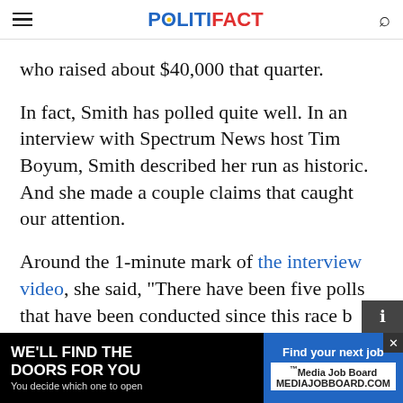POLITIFACT
who raised about $40,000 that quarter.
In fact, Smith has polled quite well. In an interview with Spectrum News host Tim Boyum, Smith described her run as historic. And she made a couple claims that caught our attention.
Around the 1-minute mark of the interview video, she said, "There have been five polls that have been conducted since this race b...
And in... Demo... whom
[Figure (other): Advertisement banner: 'WE'LL FIND THE DOORS FOR YOU / You decide which one to open' with Media Job Board logo on right side]